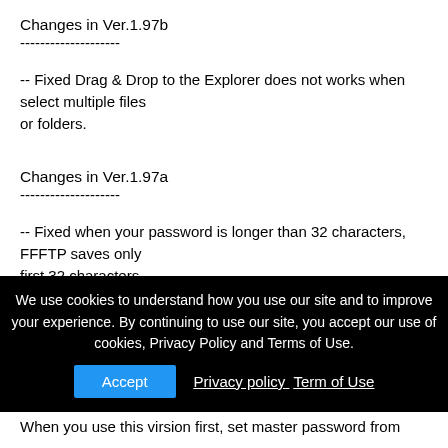Changes in Ver.1.97b
--------------------
-- Fixed Drag & Drop to the Explorer does not works when select multiple files
or folders.
Changes in Ver.1.97a
--------------------
-- Fixed when your password is longer than 32 characters, FFFTP saves only
first 32 characters.
-- Fixed FFFTP causes application error on Windows 2000.
We use cookies to understand how you use our site and to improve your experience. By continuing to use our site, you accept our use of cookies, Privacy Policy and Terms of Use.
Accept  Privacy policy  Term of Use
When you use this virsion first, set master password from